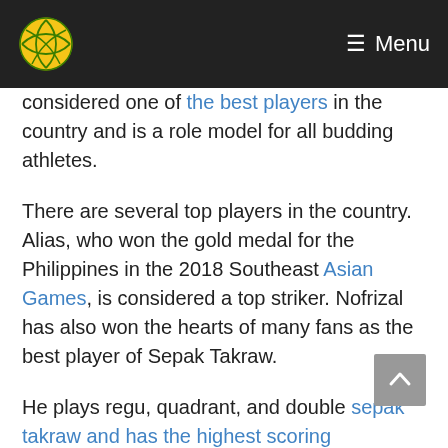Menu
considered one of the best players in the country and is a role model for all budding athletes.
There are several top players in the country. Alias, who won the gold medal for the Philippines in the 2018 Southeast Asian Games, is considered a top striker. Nofrizal has also won the hearts of many fans as the best player of Sepak Takraw.
He plays regu, quadrant, and double sepak takraw and has the highest scoring percentage. Nofrizal's versatility makes him the best player in the game today.
The game has been played by Thais since the